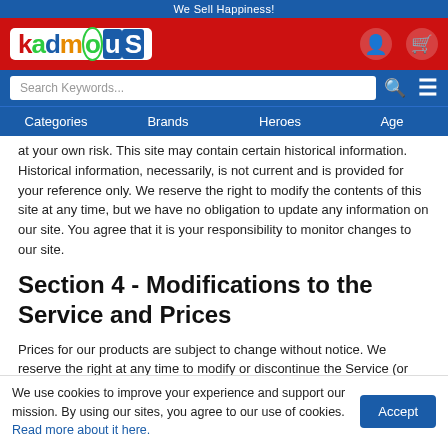We Sell Happiness!
[Figure (logo): Kadmous toy store logo on red background with user and cart icons]
Search Keywords...
Categories   Brands   Heroes   Age
at your own risk. This site may contain certain historical information. Historical information, necessarily, is not current and is provided for your reference only. We reserve the right to modify the contents of this site at any time, but we have no obligation to update any information on our site. You agree that it is your responsibility to monitor changes to our site.
Section 4 - Modifications to the Service and Prices
Prices for our products are subject to change without notice. We reserve the right at any time to modify or discontinue the Service (or any part or content
We use cookies to improve your experience and support our mission. By using our sites, you agree to our use of cookies. Read more about it here. Accept